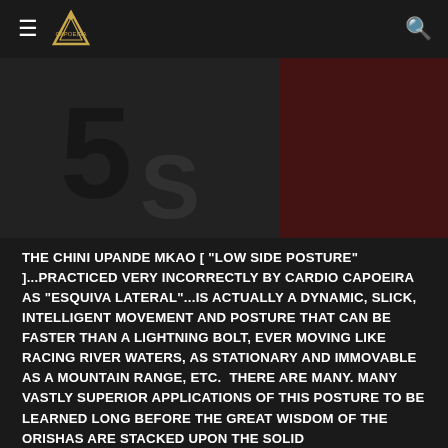≡ [Logo] 🔍
[Figure (photo): Dark moody close-up photograph of what appears to be a sports jersey or martial arts uniform with numbers/letters visible, dark grey and red tones]
THE CHINI UPANDE MKAO [ "LOW SIDE POSTURE" ]...PRACTICED VERY INCORRECTLY BY CARDIO CAPOEIRA AS "ESQUIVA LATERAL"...IS ACTUALLY A DYNAMIC, SLICK, INTELLIGENT MOVEMENT AND POSTURE THAT CAN BE FASTER THAN A LIGHTNING BOLT, EVER MOVING LIKE RACING RIVER WATERS, AS STATIONARY AND IMMOVABLE AS A MOUNTAIN RANGE, ETC.  THERE ARE MANY. MANY VASTLY SUPERIOR APPLICATIONS OF THIS POSTURE TO BE LEARNED LONG BEFORE THE GREAT WISDOM OF THE ORISHAS ARE STACKED UPON THE SOLID